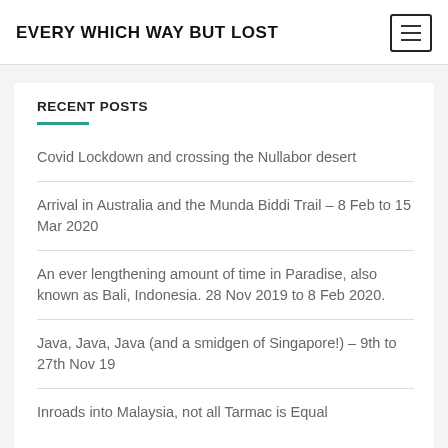EVERY WHICH WAY BUT LOST
RECENT POSTS
Covid Lockdown and crossing the Nullabor desert
Arrival in Australia and the Munda Biddi Trail – 8 Feb to 15 Mar 2020
An ever lengthening amount of time in Paradise, also known as Bali, Indonesia. 28 Nov 2019 to 8 Feb 2020.
Java, Java, Java (and a smidgen of Singapore!) – 9th to 27th Nov 19
Inroads into Malaysia, not all Tarmac is Equal